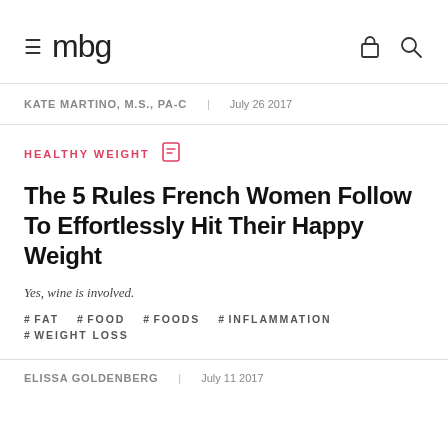≡ mbg
KATE MARTINO, M.S., PA-C   July 26 2017
HEALTHY WEIGHT
The 5 Rules French Women Follow To Effortlessly Hit Their Happy Weight
Yes, wine is involved.
#FAT   #FOOD   #FOODS   #INFLAMMATION   #WEIGHT LOSS
ELISSA GOLDENBERG   July 11 2017